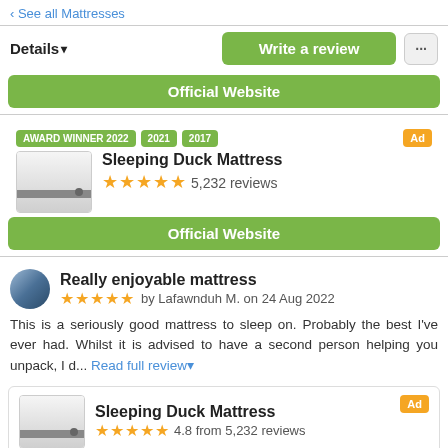‹ See all Mattresses
Details▾
Write a review
...
Official Website
AWARD WINNER 2022  2021  2017  Ad
Sleeping Duck Mattress
★★★★★ 5,232 reviews
Official Website
Really enjoyable mattress
★★★★★ by Lafawnduh M. on 24 Aug 2022
This is a seriously good mattress to sleep on. Probably the best I've ever had. Whilst it is advised to have a second person helping you unpack, I d... Read full review▾
Sleeping Duck Mattress  Ad
★★★★★ 4.8 from 5,232 reviews